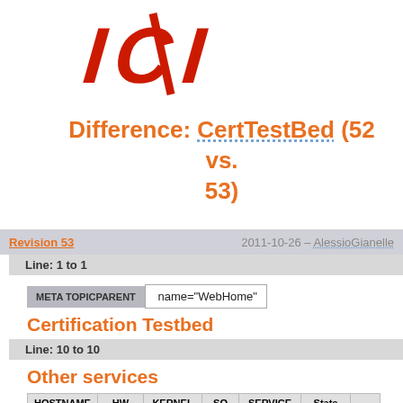[Figure (logo): ICG red stylized logo with italic letters]
Difference: CertTestBed (52 vs. 53)
Revision 53   2011-10-26   AlessioGianelle
Line: 1 to 1
META TOPICPARENT   name="WebHome"
Certification Testbed
Line: 10 to 10
Other services
| HOSTNAME | HW | KERNEL | SO | SERVICE | State |  |
| --- | --- | --- | --- | --- | --- | --- |